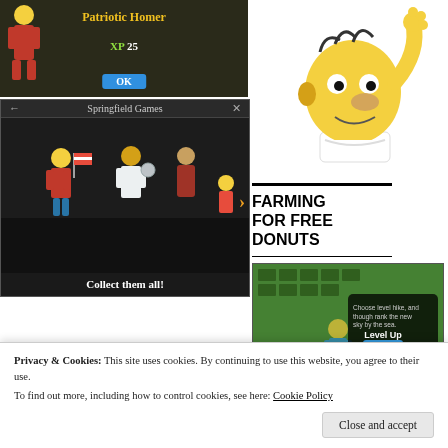[Figure (screenshot): Game screenshot showing Patriotic Homer costume unlock screen with XP 25 reward and OK button, dark background]
[Figure (screenshot): Springfield Games dialog showing Homer in patriotic costume, a doctor, a woman, and Lisa with text 'Collect them all!']
[Figure (illustration): Cartoon illustration of Homer Simpson waving his hand, yellow character on white background]
FARMING FOR FREE DONUTS
[Figure (screenshot): Donut Farming game screenshot showing isometric view with 'Level Up 939' overlay and 'Donut Farming' text]
Yes, this is a COSTUME for Homer…the last person in Springfield to need a costume.
Privacy & Cookies: This site uses cookies. By continuing to use this website, you agree to their use.
To find out more, including how to control cookies, see here: Cookie Policy
Close and accept